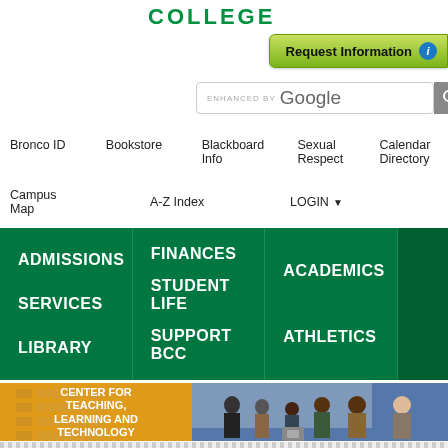COLLEGE
Request Information
ENHANCED BY Google
Bronco ID
Bookstore
Blackboard Info
Sexual Respect
Calendar
Directory
Campus Map
A-Z Index
LOGIN
ADMISSIONS
FINANCES
ACADEMICS
SERVICES
STUDENT LIFE
ATHLETICS
LIBRARY
SUPPORT BCC
[Figure (photo): Photo of group of educators gathered around a 3D printer or small machine on a table, in a classroom or conference room setting with whiteboard behind them. On the left side is a yellow/gold panel with a list icon graphic and text overlay reading CENTER FOR TEACHING, LEARNING AND TECHNOLOGY.]